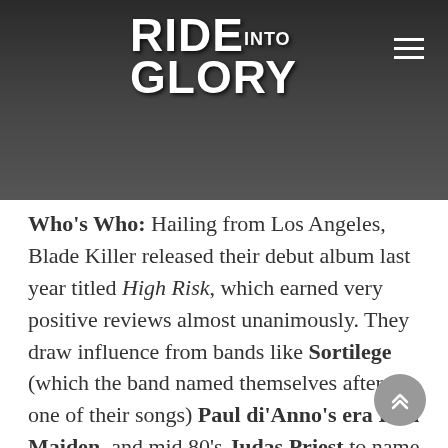[Figure (screenshot): Website header with dark background showing 'Ride Into Glory' logo in white stylized text on the left, and a hamburger menu icon on the right. Background has a faded dark image.]
Who's Who: Hailing from Los Angeles, Blade Killer released their debut album last year titled High Risk, which earned very positive reviews almost unanimously. They draw influence from bands like Sortilege (which the band named themselves after one of their songs) Paul di'Anno's era Iron Maiden, and mid 80's Judas Priest to name a few.
Suggested Discography: High Risk found its way on numerous album of the year lists in 2018, while the only other release the band has is the 2014 self titled EP, which sounds even more NWOBHMish than the album. Both released are very enjoyable and will satisfy the bands of the aforementioned bands.